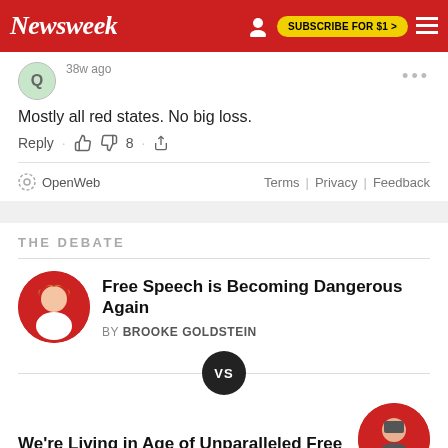Newsweek — SUBSCRIBE FOR $1 >
38w ago
Mostly all red states. No big loss.
Reply · 👍 👎 8 · share
OpenWeb — Terms | Privacy | Feedback
THE DEBATE
Free Speech is Becoming Dangerous Again
BY BROOKE GOLDSTEIN
We're Living in Age of Unparalleled Free Speech